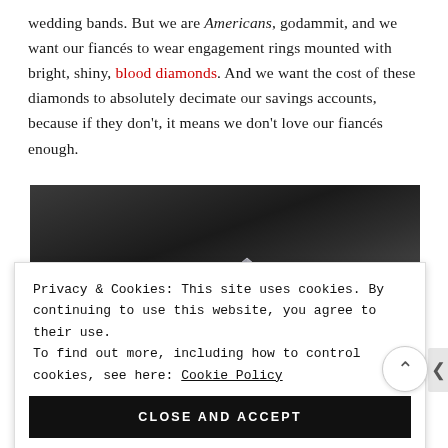wedding bands. But we are Americans, godammit, and we want our fiancés to wear engagement rings mounted with bright, shiny, blood diamonds. And we want the cost of these diamonds to absolutely decimate our savings accounts, because if they don't, it means we don't love our fiancés enough.
[Figure (photo): Dark background photo showing a diamond ring or gemstone, partially visible at the bottom of the frame against a dark/black background.]
Privacy & Cookies: This site uses cookies. By continuing to use this website, you agree to their use.
To find out more, including how to control cookies, see here: Cookie Policy
CLOSE AND ACCEPT